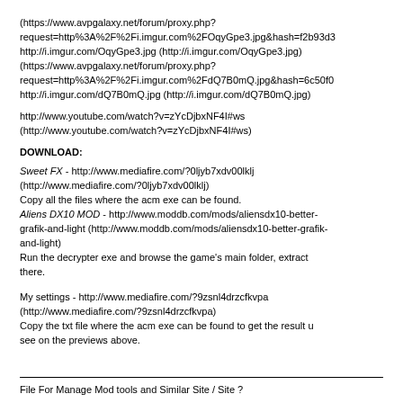(https://www.avpgalaxy.net/forum/proxy.php?request=http%3A%2F%2Fi.imgur.com%2FOqyGpe3.jpg&hash=f2b93d3 http://i.imgur.com/OqyGpe3.jpg (http://i.imgur.com/OqyGpe3.jpg) (https://www.avpgalaxy.net/forum/proxy.php?request=http%3A%2F%2Fi.imgur.com%2FdQ7B0mQ.jpg&hash=6c50f0 http://i.imgur.com/dQ7B0mQ.jpg (http://i.imgur.com/dQ7B0mQ.jpg)
http://www.youtube.com/watch?v=zYcDjbxNF4I#ws (http://www.youtube.com/watch?v=zYcDjbxNF4I#ws)
DOWNLOAD:
Sweet FX - http://www.mediafire.com/?0ljyb7xdv00lklj (http://www.mediafire.com/?0ljyb7xdv00lklj) Copy all the files where the acm exe can be found. Aliens DX10 MOD - http://www.moddb.com/mods/aliensdx10-better-grafik-and-light (http://www.moddb.com/mods/aliensdx10-better-grafik-and-light) Run the decrypter exe and browse the game's main folder, extract there.
My settings - http://www.mediafire.com/?9zsnl4drzcfkvpa (http://www.mediafire.com/?9zsnl4drzcfkvpa) Copy the txt file where the acm exe can be found to get the result u see on the previews above.
File For Manage Mod tools and Similar Site / Site ?